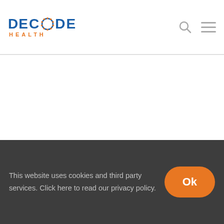[Figure (logo): Decode Health logo with blue text and orange dotted O and HEALTH subtitle]
This website uses cookies and third party services. Click here to read our privacy policy.
Ok